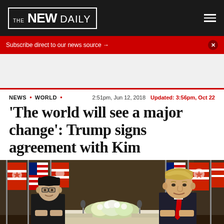THE NEW DAILY
Subscribe direct to our news source →
NEWS • WORLD • 2:51pm, Jun 12, 2018 Updated: 3:56pm, Oct 22
'The world will see a major change': Trump signs agreement with Kim
[Figure (photo): Kim Jong-un and Donald Trump seated at a table with flowers and flags at their summit signing ceremony]